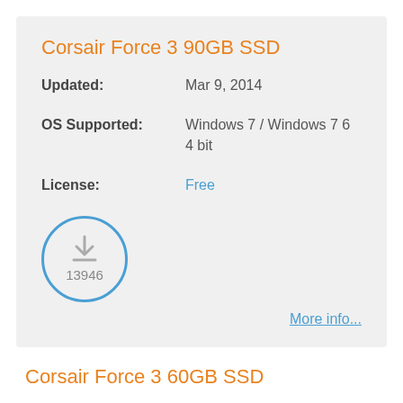Corsair Force 3 90GB SSD
| Updated: | Mar 9, 2014 |
| OS Supported: | Windows 7 / Windows 7 64 bit |
| License: | Free |
[Figure (infographic): Download icon with count 13946 inside a blue circle]
More info...
Corsair Force 3 60GB SSD